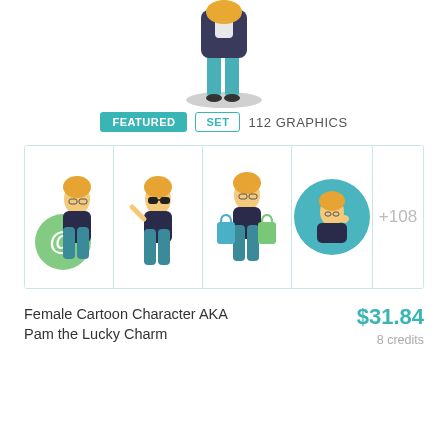[Figure (illustration): Female cartoon character (Pam the Lucky Charm) shown from the waist down, wearing a teal outfit, standing on a grey oval base]
FEATURED   SET   112 GRAPHICS
[Figure (illustration): Four thumbnail previews of the Female Cartoon Character AKA Pam the Lucky Charm: 1) character with @ sign, 2) character with sunglasses, 3) character with shopping bags, 4) character circular avatar. Plus '+108' more indicator.]
Female Cartoon Character AKA Pam the Lucky Charm
$31.84
8 credits